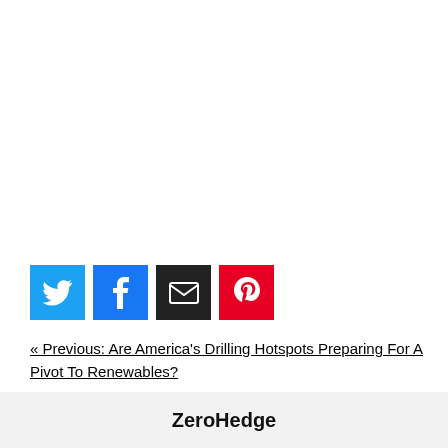[Figure (other): Social sharing icons: Twitter (blue), Facebook (blue), Email (black), Pinterest (red)]
« Previous: Are America's Drilling Hotspots Preparing For A Pivot To Renewables?
Next: Why Biden Can't Put A Cap On Oil Prices »
ZeroHedge